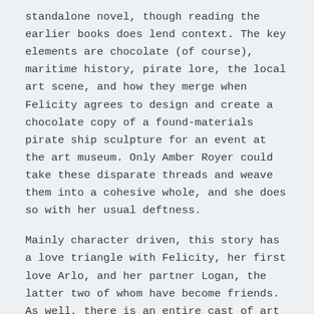standalone novel, though reading the earlier books does lend context. The key elements are chocolate (of course), maritime history, pirate lore, the local art scene, and how they merge when Felicity agrees to design and create a chocolate copy of a found-materials pirate ship sculpture for an event at the art museum. Only Amber Royer could take these disparate threads and weave them into a cohesive whole, and she does so with her usual deftness.
Mainly character driven, this story has a love triangle with Felicity, her first love Arlo, and her partner Logan, the latter two of whom have become friends. As well, there is an entire cast of art gallery staffers and artists each with their individual personalities and interpersonal conflicts that mix and match to create conflict, suspicion, and delightful drama.
In A Shot in the 80% Dark, Amber Royer has created a snappy, interesting read that remains unpredictable to the